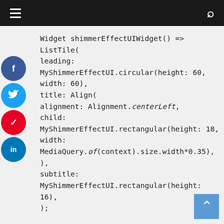≡  [hamburger menu]    [search icon]
Widget shimmerEffectUIWidget() =>
ListTile(
leading: MyShimmerEffectUI.circular(height: 60,
width: 60),
title: Align(
alignment: Alignment.centerLeft,
child: MyShimmerEffectUI.rectangular(height: 18,
width: MediaQuery.of(context).size.width*0.35),
),
subtitle: MyShimmerEffectUI.rectangular(height:
16),
);

Widget listViewUI(MyFootballPlayerInfo
myFootballPlayerInfo) =>
ListTile(
leading: CircleAvatar(